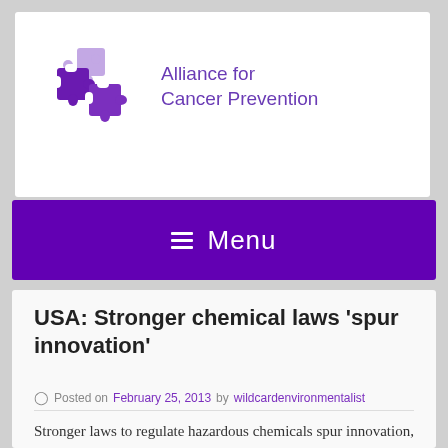[Figure (logo): Alliance for Cancer Prevention logo with purple puzzle pieces and organization name]
≡ Menu
USA: Stronger chemical laws 'spur innovation'
Posted on February 25, 2013 by wildcardenvironmentalist
Stronger laws to regulate hazardous chemicals spur innovation, with potential benefits for national economies, as well as human health and the environment, according to a new report. 'Driving